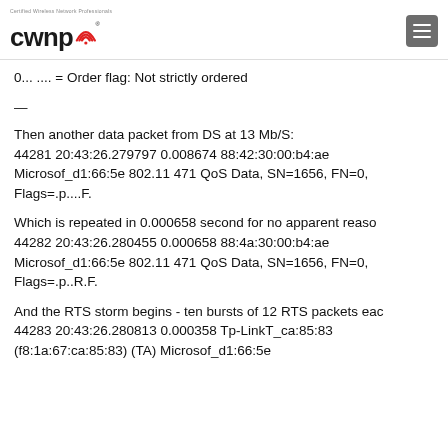CWNP - Certified Wireless Network Professionals
0... .... = Order flag: Not strictly ordered
—
Then another data packet from DS at 13 Mb/S:
44281 20:43:26.279797 0.008674 88:42:30:00:b4:ae Microsof_d1:66:5e 802.11 471 QoS Data, SN=1656, FN=0, Flags=.p....F.
Which is repeated in 0.000658 second for no apparent reason
44282 20:43:26.280455 0.000658 88:4a:30:00:b4:ae Microsof_d1:66:5e 802.11 471 QoS Data, SN=1656, FN=0, Flags=.p..R.F.
And the RTS storm begins - ten bursts of 12 RTS packets each:
44283 20:43:26.280813 0.000358 Tp-LinkT_ca:85:83 (f8:1a:67:ca:85:83) (TA) Microsof_d1:66:5e